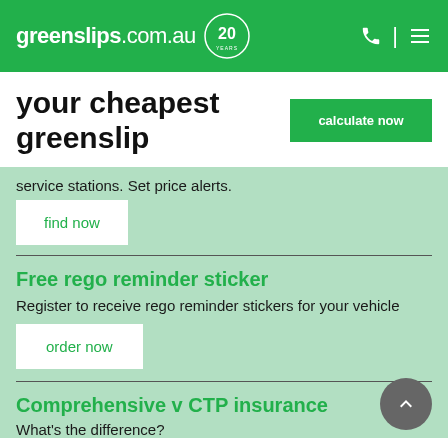greenslips.com.au — 20 YEARS
your cheapest greenslip
service stations. Set price alerts.
find now
Free rego reminder sticker
Register to receive rego reminder stickers for your vehicle
order now
Comprehensive v CTP insurance
What's the difference?